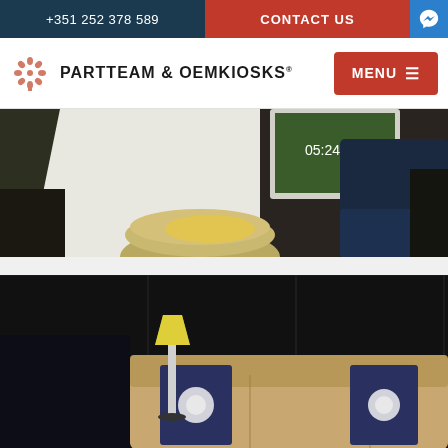+351 252 378 589
CONTACT US
[Figure (logo): PARTTEAM & OEMKIOSKS logo with decorative floral/tree emblem]
MENU
[Figure (photo): Close-up of a dark modern kiosk or furniture unit with a monitor showing a green screen, a round metallic table, and a dark blue sofa in the background]
[Figure (photo): Interior lounge area with dark paneled walls, a beige/camel sofa with dark blue decorative pillows featuring white floral patterns, and a white/gold floor lamp]